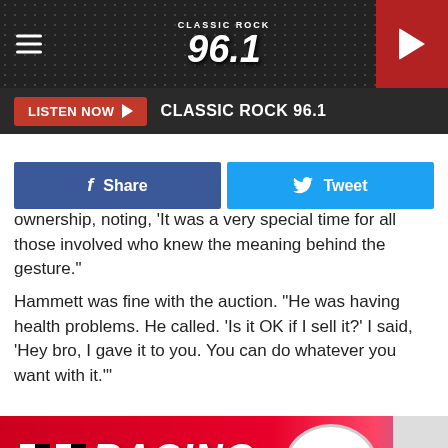[Figure (screenshot): Classic Rock 96.1 radio station header with hamburger menu icon on left, logo in center, and red play button on right]
[Figure (screenshot): Dark bar with red LISTEN NOW button and CLASSIC ROCK 96.1 text]
[Figure (screenshot): Facebook Share and Twitter Tweet buttons in a row]
ownership, noting, ‘It was a very special time for all those involved who knew the meaning behind the gesture.”
Hammett was fine with the auction. “He was having health problems. He called. ‘Is it OK if I sell it?’ I said, ‘Hey bro, I gave it to you. You can do whatever you want with it.’”
[Figure (photo): Photo of a racing trailer with RACING text in white italic font on red background, checkered flag design, car illustration in circle on right, and dark red car visible at bottom on a trailer with large wheels]